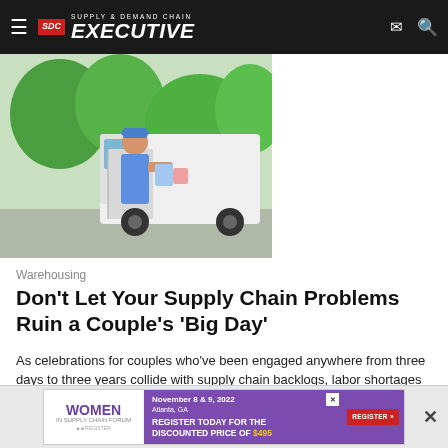Supply & Demand Chain Executive
[Figure (photo): Delivery person loading items into a white van, outdoor setting with greenery in background]
Warehousing
Don't Let Your Supply Chain Problems Ruin a Couple's 'Big Day'
As celebrations for couples who've been engaged anywhere from three days to three years collide with supply chain backlogs, labor shortages and inflation pressures, businesses that service...
Mazars USA
July 29, 2022
[Figure (infographic): Advertisement banner: Women In Supply Chain Forum, November 8 & 9, 2022, Atlanta, GA. Register today for the discounted price of $495.]